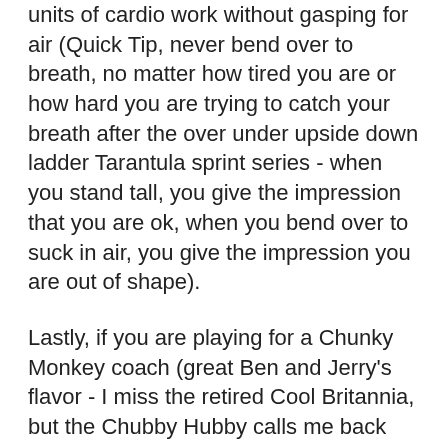units of cardio work without gasping for air (Quick Tip, never bend over to breath, no matter how tired you are or how hard you are trying to catch your breath after the over under upside down ladder Tarantula sprint series - when you stand tall, you give the impression that you are ok, when you bend over to suck in air, you give the impression you are out of shape).
Lastly, if you are playing for a Chunky Monkey coach (great Ben and Jerry's flavor - I miss the retired Cool Britannia, but the Chubby Hubby calls me back like a Siren's Song), then send them the mental voice mail to get in shape. Vastly out of shape coaches (nice way of saying heck and gone from being lean) reflect poorly on your sport but it is a different f...